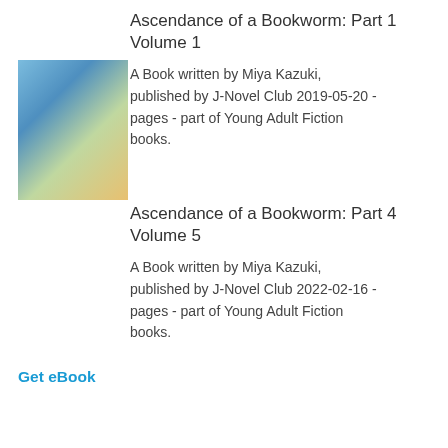Ascendance of a Bookworm: Part 1 Volume 1
A Book written by Miya Kazuki, published by J-Novel Club 2019-05-20 - pages - part of Young Adult Fiction books.
[Figure (illustration): Book cover of Ascendance of a Bookworm Part 1 Volume 1, anime-style illustration of a blue-haired girl]
Get eBook
Ascendance of a Bookworm: Part 4 Volume 5
A Book written by Miya Kazuki, published by J-Novel Club 2022-02-16 - pages - part of Young Adult Fiction books.
[Figure (illustration): Book cover of Ascendance of a Bookworm Part 4 Volume 5, anime-style illustration of a girl in red and blue dress]
Get eBook